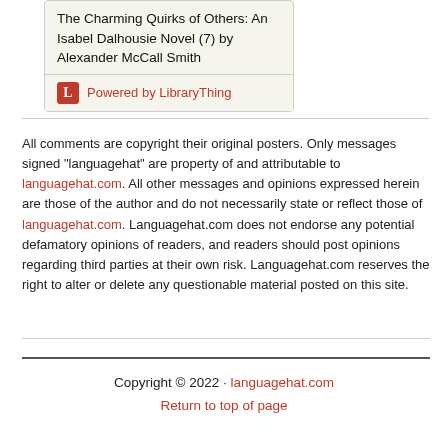[Figure (other): Book widget showing 'The Charming Quirks of Others: An Isabel Dalhousie Novel (7) by Alexander McCall Smith' with Powered by LibraryThing branding]
All comments are copyright their original posters. Only messages signed "languagehat" are property of and attributable to languagehat.com. All other messages and opinions expressed herein are those of the author and do not necessarily state or reflect those of languagehat.com. Languagehat.com does not endorse any potential defamatory opinions of readers, and readers should post opinions regarding third parties at their own risk. Languagehat.com reserves the right to alter or delete any questionable material posted on this site.
Copyright © 2022 · languagehat.com
Return to top of page